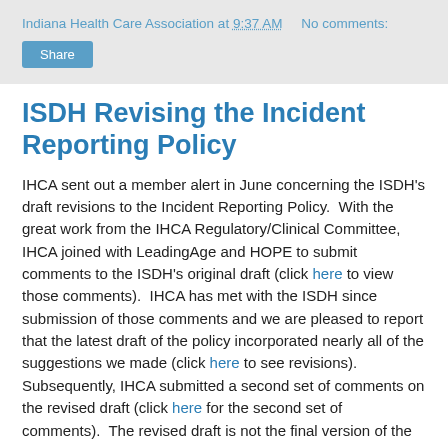Indiana Health Care Association at 9:37 AM   No comments:
Share
ISDH Revising the Incident Reporting Policy
IHCA sent out a member alert in June concerning the ISDH's draft revisions to the Incident Reporting Policy.  With the great work from the IHCA Regulatory/Clinical Committee, IHCA joined with LeadingAge and HOPE to submit comments to the ISDH's original draft (click here to view those comments).  IHCA has met with the ISDH since submission of those comments and we are pleased to report that the latest draft of the policy incorporated nearly all of the suggestions we made (click here to see revisions).  Subsequently, IHCA submitted a second set of comments on the revised draft (click here for the second set of comments).  The revised draft is not the final version of the